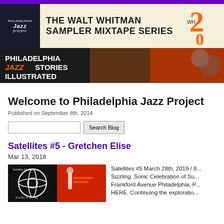[Figure (illustration): Philadelphia Jazz Project logo banner: black logo box on left with 'Philadelphia Jazz Project' text, cream background with bold uppercase 'THE WALT WHITMAN SAMPLER MIXTAPE SERIES' text, orange '20' numeral on right]
[Figure (illustration): Philadelphia Jazz Stories Illustrated banner with illustrated jazz musicians playing trumpet and trombone against orange/red background]
Welcome to Philadelphia Jazz Project
Published on September 8th, 2014
Satellites #5 - Gretchen Elise
Mar 13, 2018
[Figure (photo): Left: circular logo with atom symbol and text 'Satellites Are Spinning / Sun Ra / A. Sizzling'. Right: woman singing into microphone with red background.]
Satellites #5 March 28th, 2018 / 8... Sizzling, Sonic Celebration of Su... Frankford Avenue Philadelphia, P... HERE. Continuing the exploratio...